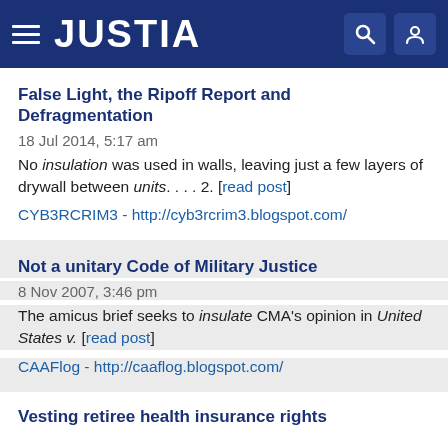JUSTIA
False Light, the Ripoff Report and Defragmentation
18 Jul 2014, 5:17 am
No insulation was used in walls, leaving just a few layers of drywall between units. . . . 2. [read post]
CYB3RCRIM3 - http://cyb3rcrim3.blogspot.com/
Not a unitary Code of Military Justice
8 Nov 2007, 3:46 pm
The amicus brief seeks to insulate CMA's opinion in United States v. [read post]
CAAFlog - http://caaflog.blogspot.com/
Vesting retiree health insurance rights